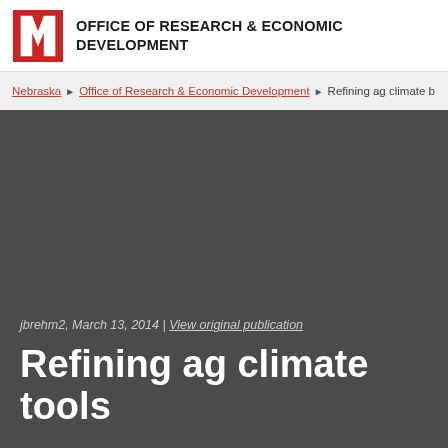OFFICE OF RESEARCH & ECONOMIC DEVELOPMENT
Nebraska › Office of Research & Economic Development › Refining ag climate b…
jbrehm2, March 13, 2014 | View original publication
Refining ag climate tools